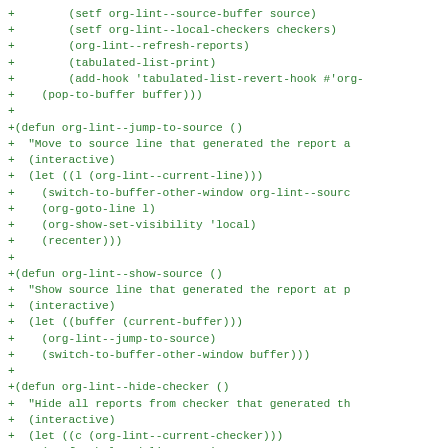Code diff showing additions to org-lint Emacs Lisp source file, including functions org-lint--jump-to-source, org-lint--show-source, and org-lint--hide-checker